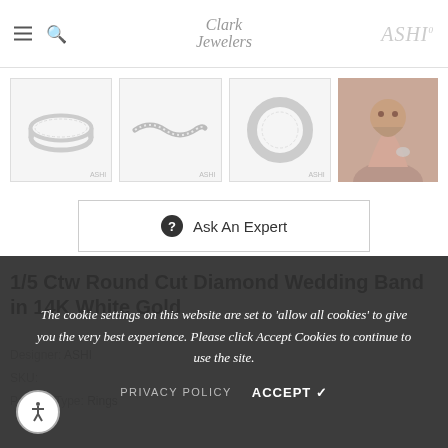Clark Jewelers | ASHI
[Figure (photo): Four product thumbnail images of a diamond wedding band ring: angled view, top view with wave shape, straight-on view, and lifestyle photo of woman wearing ring.]
Ask An Expert
1/5 Ctw Round Cut Diamond Wedding Band in 14K White Gold
Designer: ASHI
SKU: ...
Product Type: Rings
The cookie settings on this website are set to 'allow all cookies' to give you the very best experience. Please click Accept Cookies to continue to use the site.
PRIVACY POLICY   ACCEPT ✓